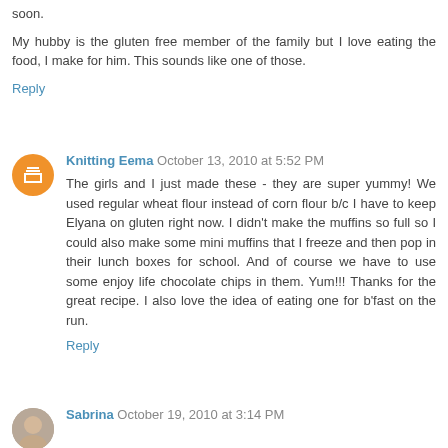soon.
My hubby is the gluten free member of the family but I love eating the food, I make for him. This sounds like one of those.
Reply
Knitting Eema  October 13, 2010 at 5:52 PM
The girls and I just made these - they are super yummy! We used regular wheat flour instead of corn flour b/c I have to keep Elyana on gluten right now. I didn't make the muffins so full so I could also make some mini muffins that I freeze and then pop in their lunch boxes for school. And of course we have to use some enjoy life chocolate chips in them. Yum!!! Thanks for the great recipe. I also love the idea of eating one for b'fast on the run.
Reply
Sabrina  October 19, 2010 at 3:14 PM